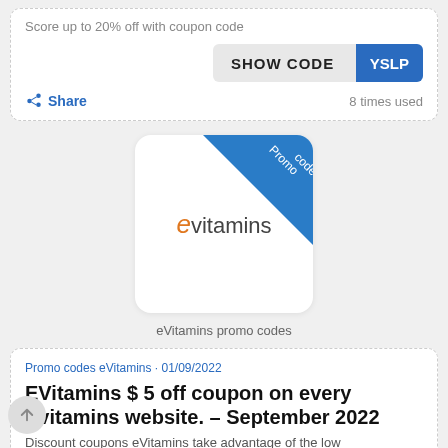Score up to 20% off with coupon code
[Figure (screenshot): SHOW CODE button with blue panel showing code YSLP]
Share   8 times used
[Figure (logo): eVitamins logo with blue promo code ribbon in corner]
eVitamins promo codes
Promo codes eVitamins • 01/09/2022
EVitamins $ 5 off coupon on every Evitamins website. - September 2022
Discount coupons eVitamins take advantage of the low